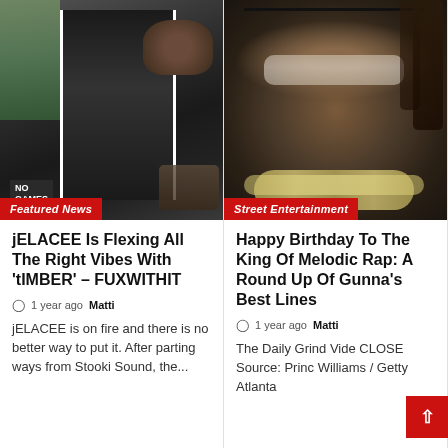[Figure (photo): Photo of a person in black clothing with white outline cutout against a building background with a 'NO GAMES' sign]
Featured News
jELACEE Is Flexing All The Right Vibes With 'tIMBER' – FUXWITHIT
1 year ago  Matti
jELACEE is on fire and there is no better way to put it. After parting ways from Stooki Sound, the...
[Figure (photo): Close-up photo of a smiling man with glasses and diamond chain jewelry]
Street Entertainment
Happy Birthday To The King Of Melodic Rap: A Round Up Of Gunna's Best Lines
1 year ago  Matti
The Daily Grind Vide CLOSE Source: Princ Williams / Getty Atlanta